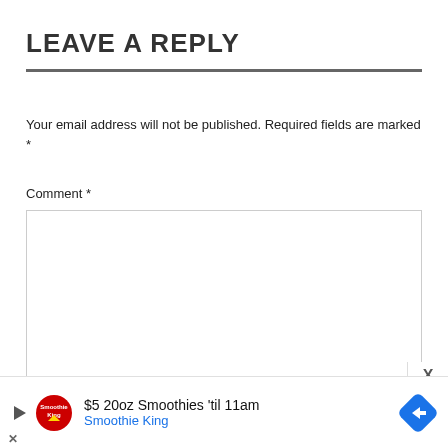LEAVE A REPLY
Your email address will not be published. Required fields are marked *
Comment *
Name *
[Figure (infographic): Advertisement banner: $5 20oz Smoothies 'til 11am Smoothie King, with play button, Smoothie King logo, and a blue diamond-shaped navigation arrow icon]